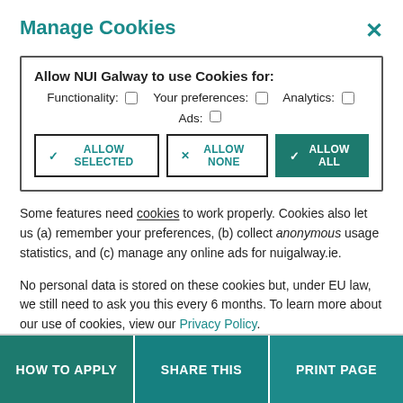Manage Cookies
[Figure (screenshot): Cookie consent dialog box with checkboxes for Functionality, Your preferences, Analytics, and Ads, plus three buttons: Allow Selected, Allow None, Allow All]
Some features need cookies to work properly. Cookies also let us (a) remember your preferences, (b) collect anonymous usage statistics, and (c) manage any online ads for nuigalway.ie.
No personal data is stored on these cookies but, under EU law, we still need to ask you this every 6 months. To learn more about our use of cookies, view our Privacy Policy.
HOW TO APPLY   SHARE THIS   PRINT PAGE